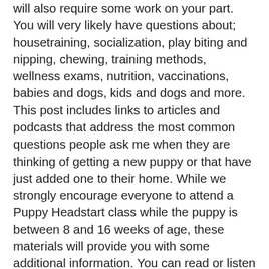will also require some work on your part. You will very likely have questions about; housetraining, socialization, play biting and nipping, chewing, training methods, wellness exams, nutrition, vaccinations, babies and dogs, kids and dogs and more. This post includes links to articles and podcasts that address the most common questions people ask me when they are thinking of getting a new puppy or that have just added one to their home. While we strongly encourage everyone to attend a Puppy Headstart class while the puppy is between 8 and 16 weeks of age, these materials will provide you with some additional information. You can read or listen to them in any order you choose; however, I believe you will get the most benefit if you go through them in the order that they are listed.
My first word of advice; "patience." It is very easy to want the ideal puppy immediately, but just as "Rome was not built in a day," Your puppy will not be the perfect companion in a week, nor in all likelihood in a month. Training is a process, and as such it takes time. Yes, there will times you may become frustrated, but when you look back in a year you will